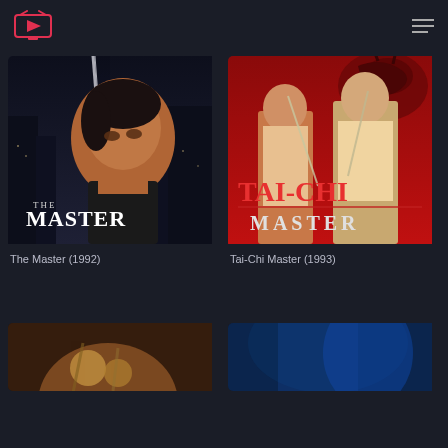Streaming app header with logo and hamburger menu
[Figure (photo): Movie poster for The Master (1992) showing an Asian man's face with a sword blade, city background at night, with title text 'THE MASTER' in white]
The Master (1992)
[Figure (photo): Movie poster for Tai-Chi Master (1993) showing two martial arts fighters on a red background with a dragon silhouette, title text 'TAI-CHI MASTER' in red/white]
Tai-Chi Master (1993)
[Figure (photo): Partially visible movie poster at bottom left, dark warm tones with figure]
[Figure (photo): Partially visible movie poster at bottom right, blue tones with figure]